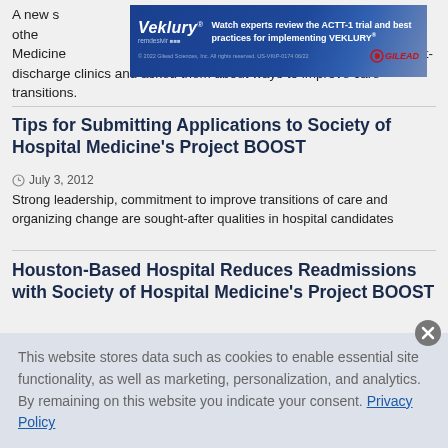A new s…w from the othe…ospital Medicine…leaders in California-based post-discharge clinics and asked them about ways to improve care transitions.
[Figure (screenshot): Veklury (remdesivir) advertisement banner: Watch experts review the ACTT-1 trial and best practices for implementing VEKLURY®. © 2022 Gilead Sciences, Inc. All rights reserved. US-VKtP-0174 06/22. Gilead logo.]
Tips for Submitting Applications to Society of Hospital Medicine's Project BOOST
July 3, 2012
Strong leadership, commitment to improve transitions of care and organizing change are sought-after qualities in hospital candidates
Houston-Based Hospital Reduces Readmissions with Society of Hospital Medicine's Project BOOST
This website stores data such as cookies to enable essential site functionality, as well as marketing, personalization, and analytics. By remaining on this website you indicate your consent. Privacy Policy